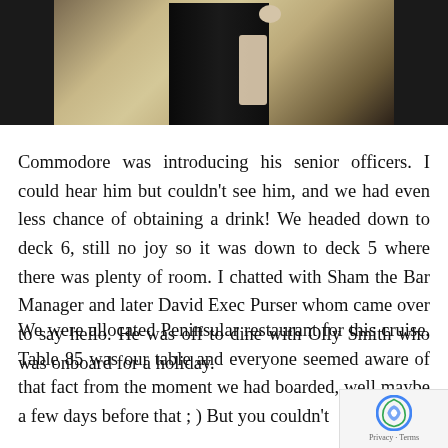[Figure (photo): Cropped photo showing the lower portion of a person dressed in dark clothing standing near a wall, with partial view of another person's arm on the right side.]
Commodore was introducing his senior officers. I could hear him but couldn't see him, and we had even less chance of obtaining a drink! We headed down to deck 6, still no joy so it was down to deck 5 where there was plenty of room. I chatted with Sham the Bar Manager and later David Exec Purser whom came over to say hello. He was off to dine with Olly Smith who was onboard for a holiday.
We were allocated Peninsular restaurant for this cruise. Table 85 was our table and everyone seemed aware of that fact from the moment we had boarded, well maybe a few days before that ; ) But you couldn't